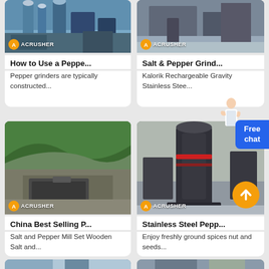[Figure (photo): Industrial grinding/crushing machinery with silos and tanks, ACRUSHER branded]
How to Use a Peppe...
Pepper grinders are typically constructed...
[Figure (photo): Industrial machinery in warehouse setting, ACRUSHER branded]
Salt & Pepper Grind...
Kalorik Rechargeable Gravity Stainless Stee...
[Figure (photo): Mobile crushing equipment at mountain quarry site, ACRUSHER branded]
China Best Selling P...
Salt and Pepper Mill Set Wooden Salt and...
[Figure (photo): Large vertical grinding mill machine in industrial warehouse, ACRUSHER branded]
Stainless Steel Pepp...
Enjoy freshly ground spices nut and seeds...
[Figure (photo): Industrial facility interior, partially visible at bottom]
[Figure (photo): Industrial machinery partially visible at bottom]